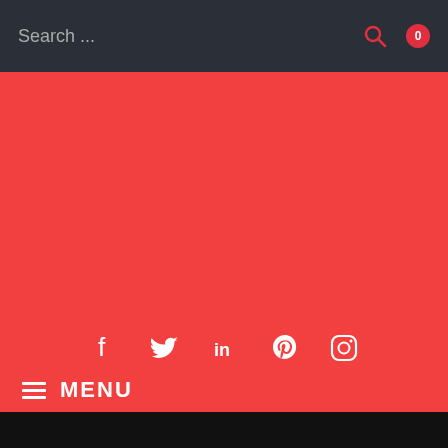Search ...
[Figure (infographic): Red background area with social media icons: Facebook, Twitter, LinkedIn, Pinterest, Instagram]
MENU